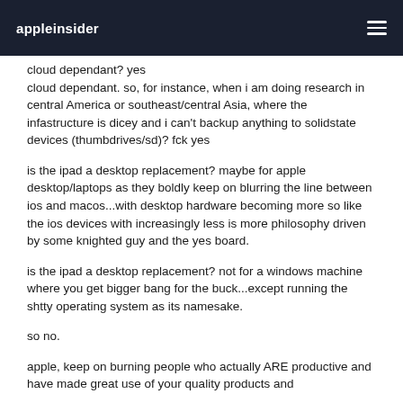appleinsider
cloud dependant? yes
cloud dependant. so, for instance, when i am doing research in central America or southeast/central Asia, where the infastructure is dicey and i can't backup anything to solidstate devices (thumbdrives/sd)? fck yes
is the ipad a desktop replacement? maybe for apple desktop/laptops as they boldly keep on blurring the line between ios and macos...with desktop hardware becoming more so like the ios devices with increasingly less is more philosophy driven by some knighted guy and the yes board.
is the ipad a desktop replacement? not for a windows machine where you get bigger bang for the buck...except running the shtty operating system as its namesake.
so no.
apple, keep on burning people who actually ARE productive and have made great use of your quality products and